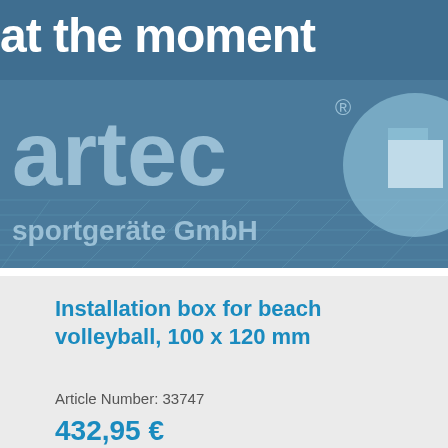[Figure (photo): Blue-tinted banner image with artec Sportgeräte GmbH logo and partial text 'at the moment' at the top]
Installation box for beach volleyball, 100 x 120 mm
Article Number: 33747
432,95 €